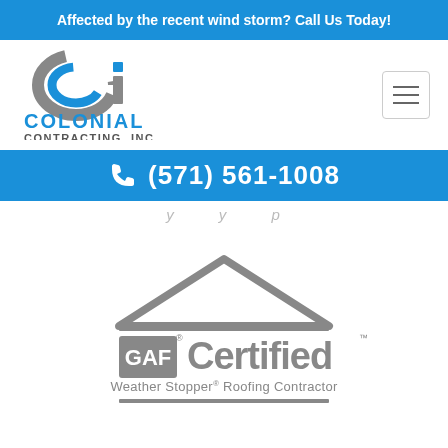Affected by the recent wind storm? Call Us Today!
[Figure (logo): CCI Colonial Contracting, Inc logo with blue and grey styling]
(571) 561-1008
[Figure (logo): GAF Certified Weather Stopper Roofing Contractor logo in grey]